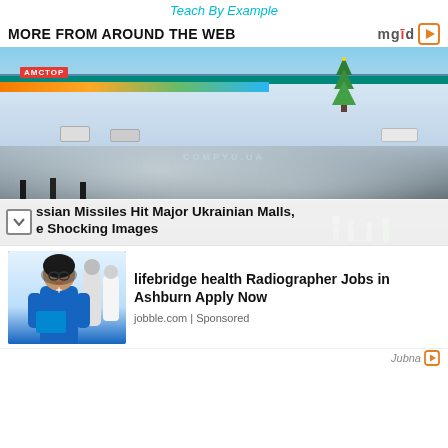Teach By Example
MORE FROM AROUND THE WEB
[Figure (photo): Two stacked photos: top shows АМСТОР shopping mall exterior with vehicles in parking lot; bottom shows a burned/destroyed building with smoke and firefighters]
ssian Missiles Hit Major Ukrainian Malls, e Shocking Images
[Figure (photo): Medical staff photo showing a smiling female nurse in blue scrubs holding a book, with colleagues in white coats in the background]
lifebridge health Radiographer Jobs in Ashburn Apply Now
jobble.com | Sponsored
Jubna